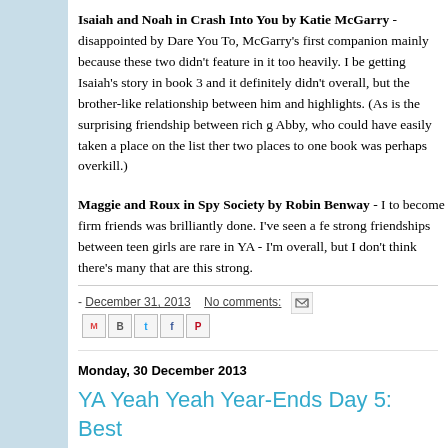Isaiah and Noah in Crash Into You by Katie McGarry - disappointed by Dare You To, McGarry's first companion mainly because these two didn't feature in it too heavily. I be getting Isaiah's story in book 3 and it definitely didn't overall, but the brother-like relationship between him and highlights. (As is the surprising friendship between rich g Abby, who could have easily taken a place on the list ther two places to one book was perhaps overkill.)
Maggie and Roux in Spy Society by Robin Benway - I to become firm friends was brilliantly done. I've seen a fe strong friendships between teen girls are rare in YA - I'm overall, but I don't think there's many that are this strong.
- December 31, 2013   No comments:
Monday, 30 December 2013
YA Yeah Yeah Year-Ends Day 5: Best Novel and Best Main Character (Male